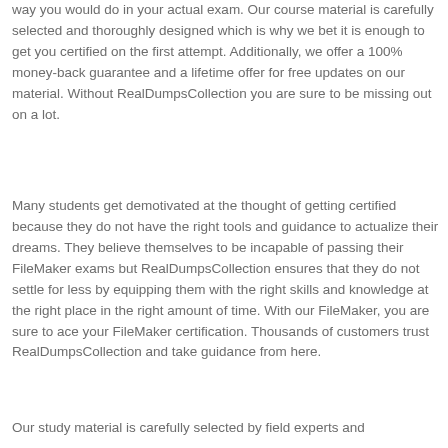way you would do in your actual exam. Our course material is carefully selected and thoroughly designed which is why we bet it is enough to get you certified on the first attempt. Additionally, we offer a 100% money-back guarantee and a lifetime offer for free updates on our material. Without RealDumpsCollection you are sure to be missing out on a lot.
Many students get demotivated at the thought of getting certified because they do not have the right tools and guidance to actualize their dreams. They believe themselves to be incapable of passing their FileMaker exams but RealDumpsCollection ensures that they do not settle for less by equipping them with the right skills and knowledge at the right place in the right amount of time. With our FileMaker, you are sure to ace your FileMaker certification. Thousands of customers trust RealDumpsCollection and take guidance from here.
Our study material is carefully selected by field experts and